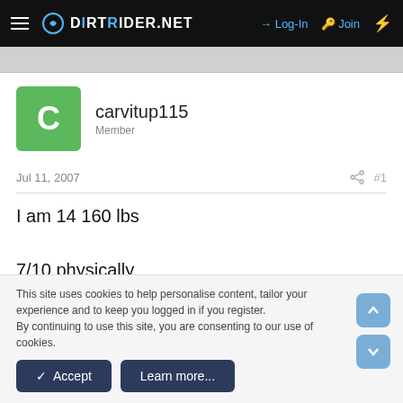DIRTRIDER.NET  →Log-In  Join
[Figure (screenshot): User avatar: green square with white letter C]
carvitup115
Member
Jul 11, 2007  #1
I am 14 160 lbs

7/10 physically
This site uses cookies to help personalise content, tailor your experience and to keep you logged in if you register.
By continuing to use this site, you are consenting to our use of cookies.